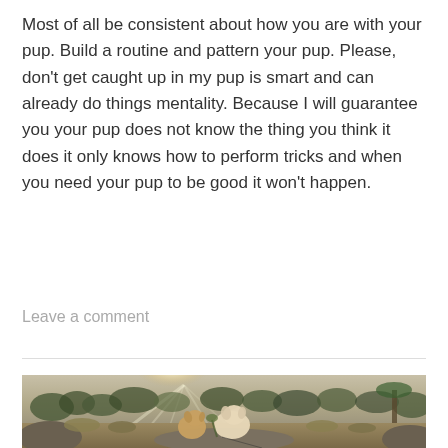Most of all be consistent about how you are with your pup. Build a routine and pattern your pup. Please, don't get caught up in my pup is smart and can already do things mentality. Because I will guarantee you your pup does not know the thing you think it does it only knows how to perform tricks and when you need your pup to be good it won't happen.
Leave a comment
[Figure (photo): Two small fluffy dogs sitting on a rock in a desert landscape with shrubs and trees in the background, sunlight rays shining through the scene.]